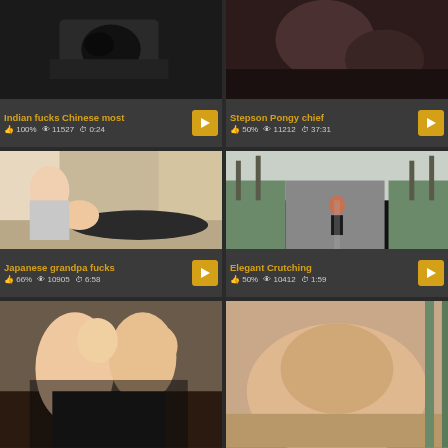[Figure (screenshot): Video thumbnail - dark close-up image]
Indian fucks Chinese most | 100% | 11527 views | 0:24
[Figure (screenshot): Video thumbnail - close-up skin tones]
Stepson Pongy chief | 50% | 11212 views | 37:31
[Figure (screenshot): Video thumbnail - Japanese grandpa scene, woman lying on floor]
Japanese grandpa fucks | 66% | 10905 views | 6:58
[Figure (screenshot): Video thumbnail - woman walking on road with crutch, trees, clidea watermark]
Elegant Crutching | 50% | 10412 views | 1:59
[Figure (screenshot): Video thumbnail - threesome scene in Japanese room]
[Figure (screenshot): Video thumbnail - explicit close-up]